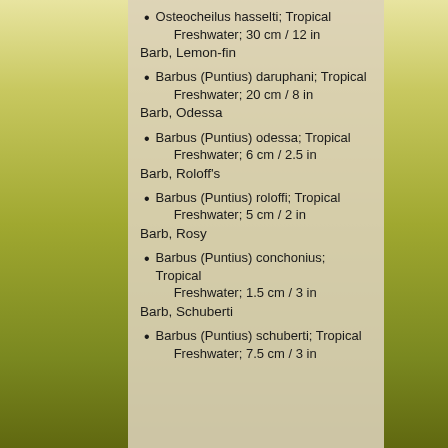Osteocheilus hasselti; Tropical Freshwater; 30 cm / 12 in
Barb, Lemon-fin
Barbus (Puntius) daruphani; Tropical Freshwater; 20 cm / 8 in
Barb, Odessa
Barbus (Puntius) odessa; Tropical Freshwater; 6 cm / 2.5 in
Barb, Roloff's
Barbus (Puntius) roloffi; Tropical Freshwater; 5 cm / 2 in
Barb, Rosy
Barbus (Puntius) conchonius; Tropical Freshwater; 1.5 cm / 3 in
Barb, Schuberti
Barbus (Puntius) schuberti; Tropical Freshwater; 7.5 cm / 3 in